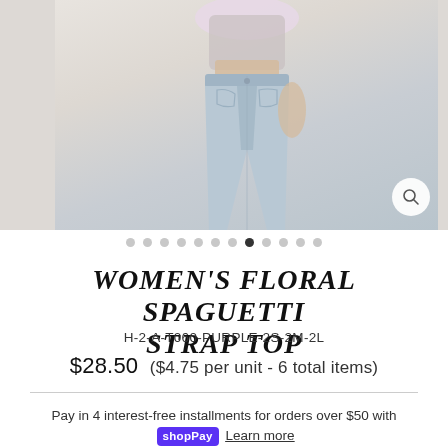[Figure (photo): Product photo showing a woman wearing light blue jeans and a floral spaguetti strap top, cropped to show torso and legs, on a light beige background]
• • • • • • • • (active) • • • •
WOMEN'S FLORAL SPAGUETTI STRAP TOP
H-2-A-T060-PURPLE-2S-2M-2L
$28.50  ($4.75 per unit - 6 total items)
Pay in 4 interest-free installments for orders over $50 with shop Pay  Learn more